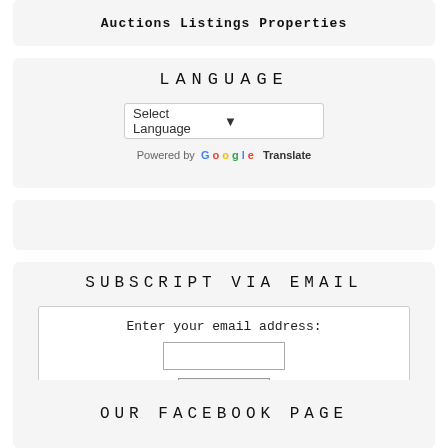Auctions Listings Properties
LANGUAGE
Select Language
Powered by Google Translate
SUBSCRIPT VIA EMAIL
Enter your email address:
Delivered by FeedBurner
OUR FACEBOOK PAGE